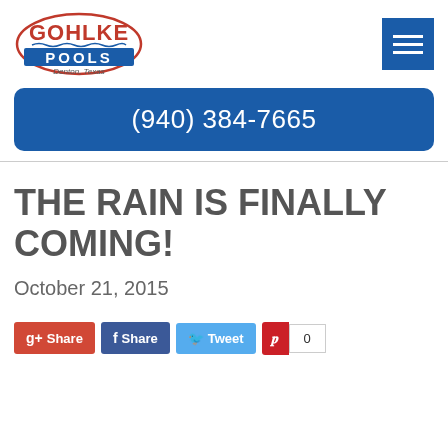[Figure (logo): Gohlke Pools logo with red and blue text, Denton, Texas]
[Figure (screenshot): Hamburger menu icon (three white horizontal lines on blue square background)]
(940) 384-7665
THE RAIN IS FINALLY COMING!
October 21, 2015
g+ Share   f Share   Tweet   0